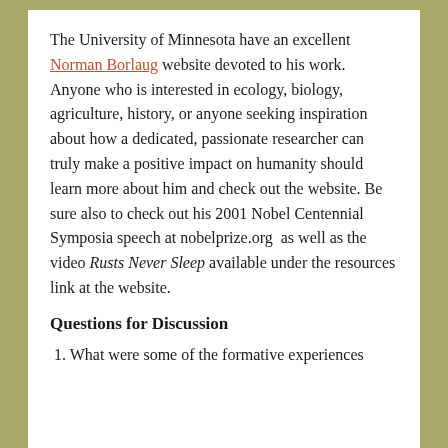The University of Minnesota have an excellent Norman Borlaug website devoted to his work. Anyone who is interested in ecology, biology, agriculture, history, or anyone seeking inspiration about how a dedicated, passionate researcher can truly make a positive impact on humanity should learn more about him and check out the website. Be sure also to check out his 2001 Nobel Centennial Symposia speech at nobelprize.org as well as the video Rusts Never Sleep available under the resources link at the website.
Questions for Discussion
1. What were some of the formative experiences